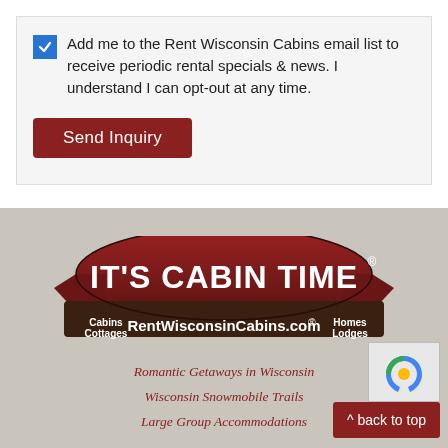Add me to the Rent Wisconsin Cabins email list to receive periodic rental specials & news. I understand I can opt-out at any time.
Send Inquiry
[Figure (logo): IT'S CABIN TIME logo badge with RentWisconsinCabins.com, Cabins Cottages on left, Homes Lodges on right]
Romantic Getaways in Wisconsin
Wisconsin Snowmobile Trails
Large Group Accommodations
^ back to top